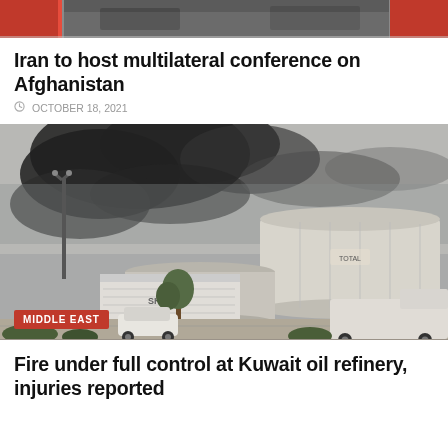[Figure (photo): Partial top image visible at top of page, showing flags or similar scene, cropped]
Iran to host multilateral conference on Afghanistan
© OCTOBER 18, 2021
[Figure (photo): Oil refinery with large storage tank and heavy black smoke billowing; cars and trucks in foreground; hazy sky. Badge overlay reads MIDDLE EAST.]
Fire under full control at Kuwait oil refinery, injuries reported